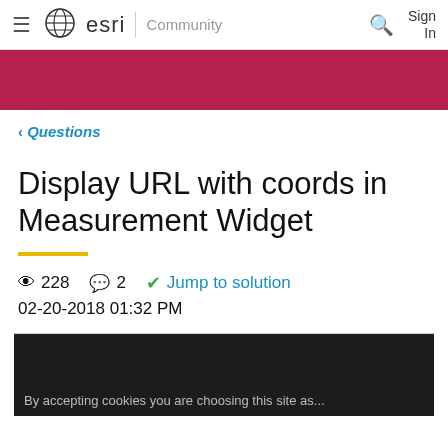≡ esri | Community  🔍  Sign In
[Figure (other): Crimson/pink decorative banner strip]
‹ Questions
Display URL with coords in Measurement Widget
228 views  2 comments  ✓ Jump to solution  02-20-2018 01:32 PM
[Figure (screenshot): Dark background content area, partially visible at bottom of page]